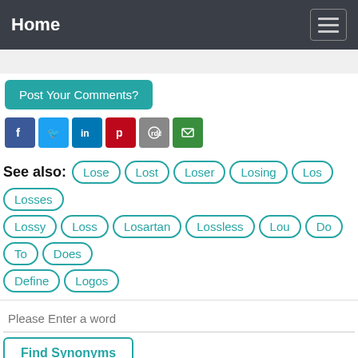Home
Post Your Comments?
See also: Lose | Lost | Loser | Losing | Los | Losses | Lossy | Loss | Losartan | Lossless | Lou | Do | To | Does | Define | Logos
Please Enter a word
Find Synonyms
1. Los chicos juegan en el parque the kids are playing in the park; las sillas que compramos the chairs we bought; mis libros y Los de usted my books and yours; las de Juan